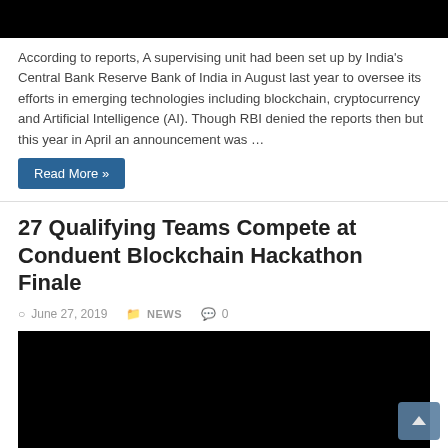[Figure (photo): Black image bar at top of page]
According to reports, A supervising unit had been set up by India’s Central Bank Reserve Bank of India in August last year to oversee its efforts in emerging technologies including blockchain, cryptocurrency and Artificial Intelligence (AI). Though RBI denied the reports then but this year in April an announcement was …
Read More »
27 Qualifying Teams Compete at Conduent Blockchain Hackathon Finale
June 27, 2019   NEWS   0
[Figure (photo): Black image block for article about Conduent Blockchain Hackathon Finale]